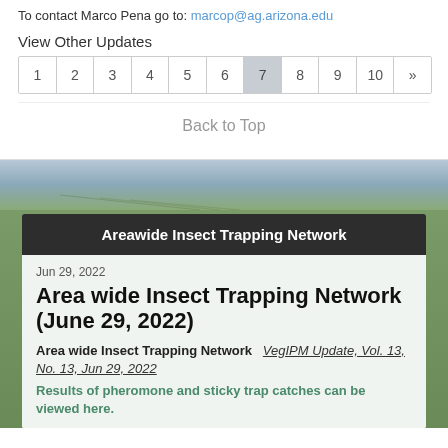To contact Marco Pena go to: marcop@ag.arizona.edu
View Other Updates
| 1 | 2 | 3 | 4 | 5 | 6 | 7 | 8 | 9 | 10 | » |
Back to Top
[Figure (photo): Farm field background image with rows of crops and cloudy sky]
Areawide Insect Trapping Network
Jun 29, 2022
Area wide Insect Trapping Network (June 29, 2022)
Area wide Insect Trapping Network   VegIPM Update, Vol. 13, No. 13, Jun 29, 2022
Results of pheromone and sticky trap catches can be viewed here.